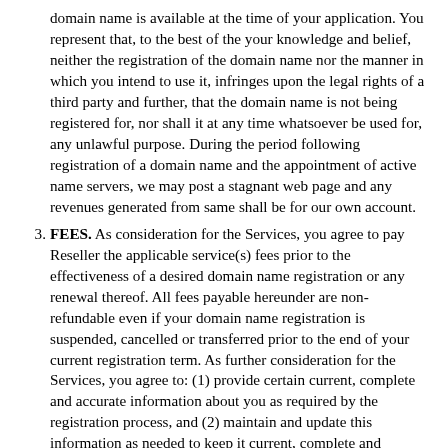domain name is available at the time of your application. You represent that, to the best of the your knowledge and belief, neither the registration of the domain name nor the manner in which you intend to use it, infringes upon the legal rights of a third party and further, that the domain name is not being registered for, nor shall it at any time whatsoever be used for, any unlawful purpose. During the period following registration of a domain name and the appointment of active name servers, we may post a stagnant web page and any revenues generated from same shall be for our own account.
FEES. As consideration for the Services, you agree to pay Reseller the applicable service(s) fees prior to the effectiveness of a desired domain name registration or any renewal thereof. All fees payable hereunder are non-refundable even if your domain name registration is suspended, cancelled or transferred prior to the end of your current registration term. As further consideration for the Services, you agree to: (1) provide certain current, complete and accurate information about you as required by the registration process, and (2) maintain and update this information as needed to keep it current, complete and accurate. All such information shall be referred to as account information ("Account Information"). You represent that the Account Information and all other statements put forth in